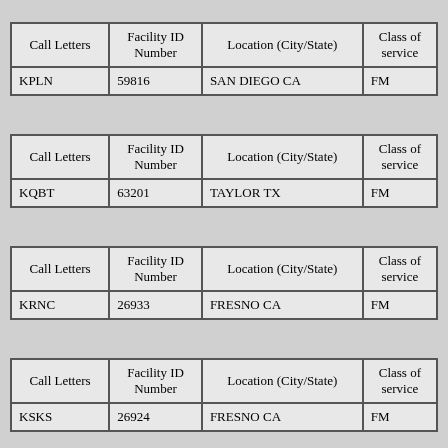| Call Letters | Facility ID Number | Location (City/State) | Class of service |
| --- | --- | --- | --- |
| KPLN | 59816 | SAN DIEGO CA | FM |
| Call Letters | Facility ID Number | Location (City/State) | Class of service |
| --- | --- | --- | --- |
| KQBT | 63201 | TAYLOR TX | FM |
| Call Letters | Facility ID Number | Location (City/State) | Class of service |
| --- | --- | --- | --- |
| KRNC | 26933 | FRESNO CA | FM |
| Call Letters | Facility ID Number | Location (City/State) | Class of service |
| --- | --- | --- | --- |
| KSKS | 26924 | FRESNO CA | FM |